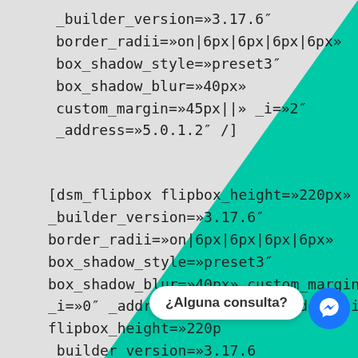_builder_version=»3.17.6"
border_radii=»on|6px|6px|6px|6px»
box_shadow_style=»preset3"
box_shadow_blur=»40px»
custom_margin=»45px||» _i=»2"
_address=»5.0.1.2" /]
[dsm_flipbox flipbox_height=»220px»
_builder_version=»3.17.6"
border_radii=»on|6px|6px|6px|6px»
box_shadow_style=»preset3"
box_shadow_blur=»40px» custom_margin=»||»
_i=»0" _address=»5.0.2.0" /][dsm_flipbox
flipbox_height=»220p
_builder_version=»3.17.6
border_radii=»on|6px|6px|6px|6px»
¿Alguna consulta?